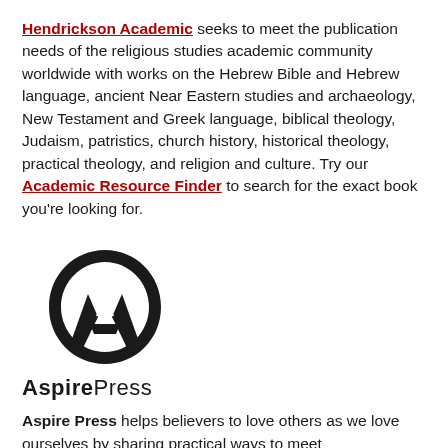Hendrickson Academic seeks to meet the publication needs of the religious studies academic community worldwide with works on the Hebrew Bible and Hebrew language, ancient Near Eastern studies and archaeology, New Testament and Greek language, biblical theology, Judaism, patristics, church history, historical theology, practical theology, and religion and culture. Try our Academic Resource Finder to search for the exact book you're looking for.
[Figure (logo): Aspire Press logo — stylized letter A in black with open sections, resembling a circular emblem]
AspirePress
Aspire Press helps believers to love others as we love ourselves by sharing practical ways to meet